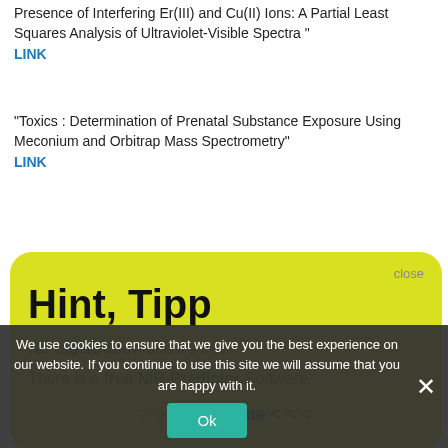Presence of Interfering Er(III) and Cu(II) Ions: A Partial Least Squares Analysis of Ultraviolet-Visible Spectra "
LINK
"Toxics : Determination of Prenatal Substance Exposure Using Meconium and Orbitrap Mass Spectrometry"
LINK
[Figure (screenshot): Yellow modal dialog box with 'Hint, Tipp' title, containing text 'No registration and it’s free!' and 'There is a free NIR-Predictor Software.' with '> > > Show me < < <' link, and a 'close' button in the top right.]
Phase Structured" LINK
Measuring Nd(III) Solution Concentration in the Presence of Interfering Er(III) and Cu(II) Ions: A Partial Least Squares Analysis of Ultraviolet-Visible Spectra"
LINK
Posted in accurate reliable NIR spectroscopy
We use cookies to ensure that we give you the best experience on our website. If you continue to use this site we will assume that you are happy with it.
Ok